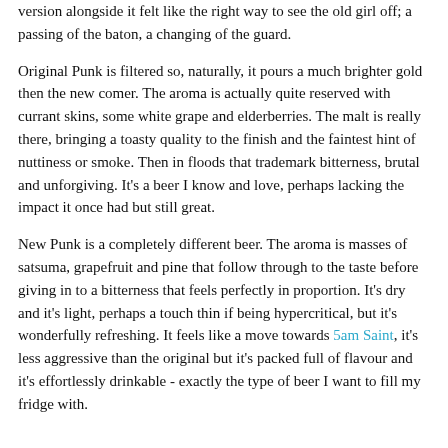version alongside it felt like the right way to see the old girl off; a passing of the baton, a changing of the guard.
Original Punk is filtered so, naturally, it pours a much brighter gold then the new comer. The aroma is actually quite reserved with currant skins, some white grape and elderberries. The malt is really there, bringing a toasty quality to the finish and the faintest hint of nuttiness or smoke. Then in floods that trademark bitterness, brutal and unforgiving. It's a beer I know and love, perhaps lacking the impact it once had but still great.
New Punk is a completely different beer. The aroma is masses of satsuma, grapefruit and pine that follow through to the taste before giving in to a bitterness that feels perfectly in proportion. It's dry and it's light, perhaps a touch thin if being hypercritical, but it's wonderfully refreshing. It feels like a move towards 5am Saint, it's less aggressive than the original but it's packed full of flavour and it's effortlessly drinkable - exactly the type of beer I want to fill my fridge with.